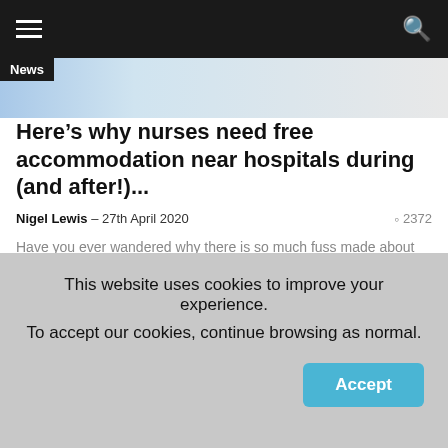Navigation bar with hamburger menu and search icon
[Figure (screenshot): Website article page header image strip with 'News' badge]
Here’s why nurses need free accommodation near hospitals during (and after!)...
Nigel Lewis – 27th April 2020 ◎ 2372
Have you ever wandered why there is so much fuss made about providing free accommodation for NHS staff near hospitals? Here’s...
[Figure (photo): Partial circular avatars or images at bottom of article]
This website uses cookies to improve your experience. To accept our cookies, continue browsing as normal.